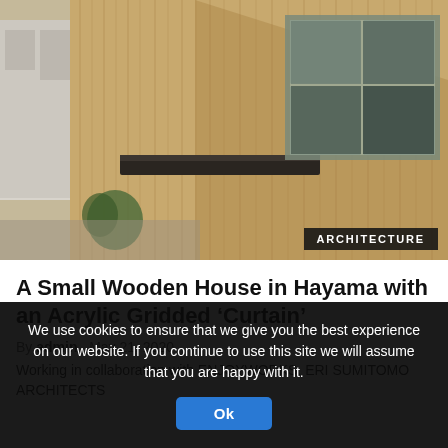[Figure (photo): Exterior of a small wooden house with vertical wood cladding, sliding windows, and a dark canopy overhang. Urban setting with neighboring buildings visible.]
ARCHITECTURE
A Small Wooden House in Hayama with an Acrylic Gridded ‘Curtain’
By admin   May 21, 2020
Working in collaboration with ENJOYWORKS, ERI SUMITOMO ARCHITECTS
We use cookies to ensure that we give you the best experience on our website. If you continue to use this site we will assume that you are happy with it.